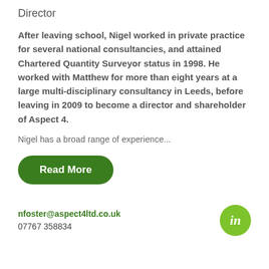Director
After leaving school, Nigel worked in private practice for several national consultancies, and attained Chartered Quantity Surveyor status in 1998. He worked with Matthew for more than eight years at a large multi-disciplinary consultancy in Leeds, before leaving in 2009 to become a director and shareholder of Aspect 4.
Nigel has a broad range of experience...
Read More
nfoster@aspect4ltd.co.uk
07767 358834
[Figure (logo): LinkedIn logo — white 'in' text on a green circle]